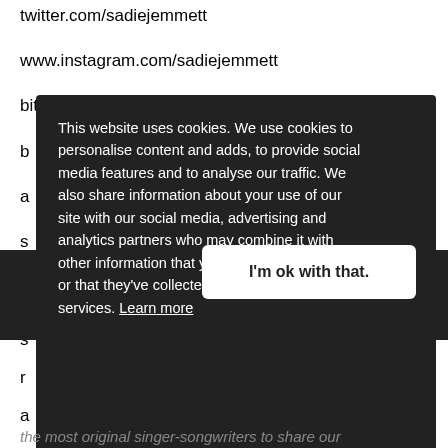twitter.com/sadiejemmett
www.instagram.com/sadiejemmett
bit.ly/39icEIM
b
a
s
[Figure (screenshot): Cookie consent popup overlay with dark background. Text reads: 'This website uses cookies. We use cookies to personalise content and adds, to provide social media features and to analyse our traffic. We also share information about your use of our site with our social media, advertising and analytics partners who may combine it with other information that you've provided to them or that they've collected from your use of their services. Learn more' with a white button labeled 'I'm ok with that.']
s
r
a
t